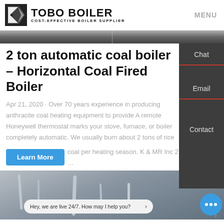TOBO BOILER | COST-EFFECTIVE BOILER SUPPLIER | MENU
[Figure (photo): Gray industrial banner/hero image strip with a vertical line in the center]
2 ton automatic coal boiler – Horizontal Coal Fired Boiler
Apr 21, 2020 · Over 70 years experience in producing anthracite coal heating equipment to provide A remote Honeywell thermostat marks your stove, furnace, or boiler completely automatic. We usually burn about 2 tons of rice coal per heating season. K & MR Inc 2 …
[Figure (photo): Interior industrial facility with pipes and equipment, gray tones]
Hey, we are live 24/7. How may I help you?